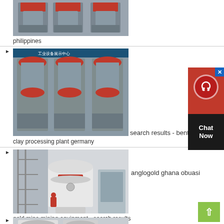[Figure (photo): Industrial machinery - cone crushers in a factory setting, gray with red accents]
philippines
[Figure (photo): Industrial cone crushers in a factory with banner, gray machines with red rings]
search results - bentonite
clay processing plant germany
[Figure (photo): Large white industrial mill or grinder with red stripe outdoors, construction scaffolding]
anglogold ghana obuasi
gold mine mining equipment - search results
[Figure (photo): Industrial crusher machinery in factory, white and gray, partially visible]